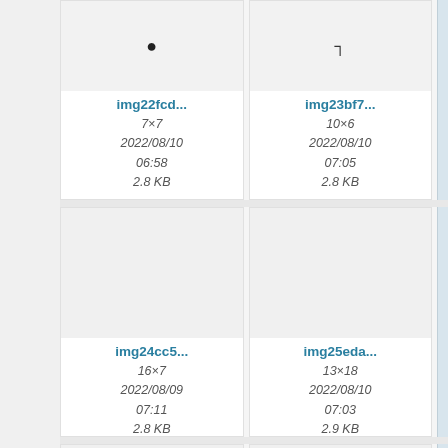[Figure (screenshot): File browser grid view showing image thumbnails with metadata. Row 1: img22fcd... (7×7, 2022/08/10 06:58, 2.8 KB) with bullet icon thumbnail; img23bf7... (10×6, 2022/08/10 07:05, 2.8 KB) with corner symbol thumbnail; partial third card cut off on right. Row 2: img24cc5... (16×7, 2022/08/09 07:11, 2.8 KB) blank thumbnail; img25eda... (13×18, 2022/08/10 07:03, 2.9 KB) blank thumbnail; partial third card. Row 3: two blank cards partially visible at bottom.]